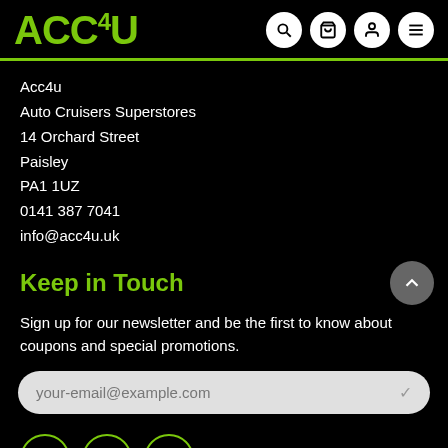ACC4U — header navigation with logo and icons
Acc4u
Auto Cruisers Superstores
14 Orchard Street
Paisley
PA1 1UZ
0141 387 7041
info@acc4u.uk
Keep in Touch
Sign up for our newsletter and be the first to know about coupons and special promotions.
your-email@example.com
[Figure (other): Social media icons: Facebook, Pinterest, Instagram]